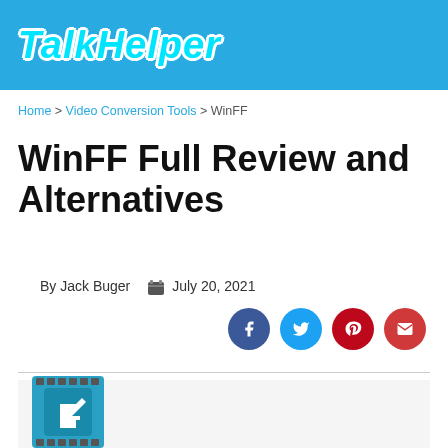TalkHelper
Home > Video Conversion Tools > WinFF
WinFF Full Review and Alternatives
By Jack Buger  July 20, 2021
[Figure (other): Social share buttons: Facebook, Twitter, Pinterest, Email]
[Figure (logo): WinFF application icon — film strip with blue background and arrow/conversion symbol]